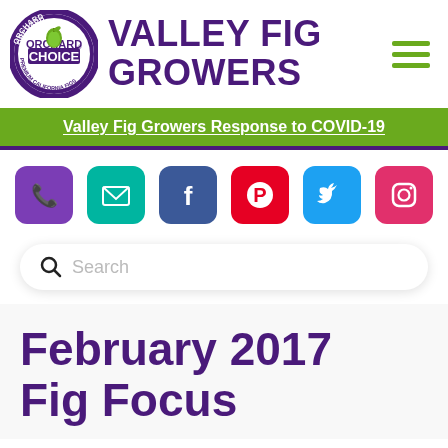[Figure (logo): Orchard Choice Premium California Figs circular logo with fig illustration]
VALLEY FIG GROWERS
[Figure (other): Hamburger menu icon with three green horizontal lines]
Valley Fig Growers Response to COVID-19
[Figure (other): Social media icons: phone/Viber (purple), email (teal), Facebook (blue), Pinterest (red), Twitter (light blue), Instagram (pink)]
Search
February 2017 Fig Focus